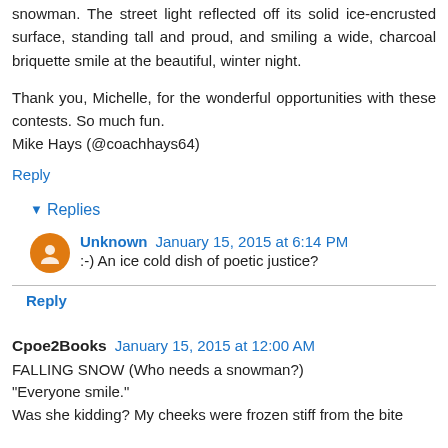snowman. The street light reflected off its solid ice-encrusted surface, standing tall and proud, and smiling a wide, charcoal briquette smile at the beautiful, winter night.
Thank you, Michelle, for the wonderful opportunities with these contests. So much fun.
Mike Hays (@coachhays64)
Reply
▾ Replies
Unknown  January 15, 2015 at 6:14 PM
:-) An ice cold dish of poetic justice?
Reply
Cpoe2Books  January 15, 2015 at 12:00 AM
FALLING SNOW (Who needs a snowman?)
"Everyone smile."
Was she kidding? My cheeks were frozen stiff from the bite